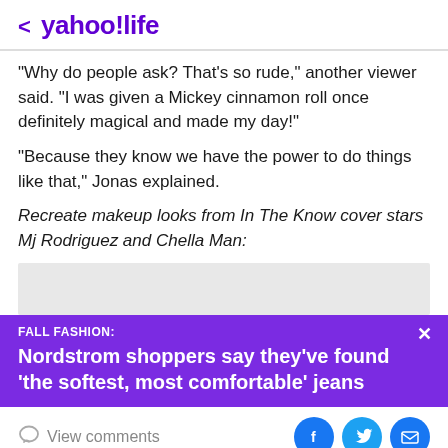< yahoo!life
"Why do people ask? That's so rude," another viewer said. "I was given a Mickey cinnamon roll once definitely magical and made my day!"
"Because they know we have the power to do things like that," Jonas explained.
Recreate makeup looks from In The Know cover stars Mj Rodriguez and Chella Man:
[Figure (other): Gray placeholder bar for embedded video or image content]
FALL FASHION: Nordstrom shoppers say they've found 'the softest, most comfortable' jeans
View comments